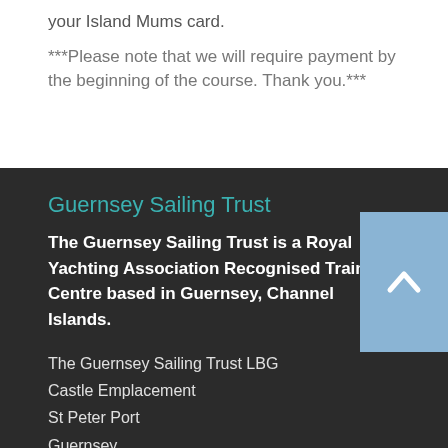your Island Mums card.
***Please note that we will require payment by the beginning of the course.  Thank you.***
Guernsey Sailing Trust
The Guernsey Sailing Trust is a Royal Yachting Association Recognised Training Centre based in Guernsey, Channel Islands.
The Guernsey Sailing Trust LBG
Castle Emplacement
St Peter Port
Guernsey